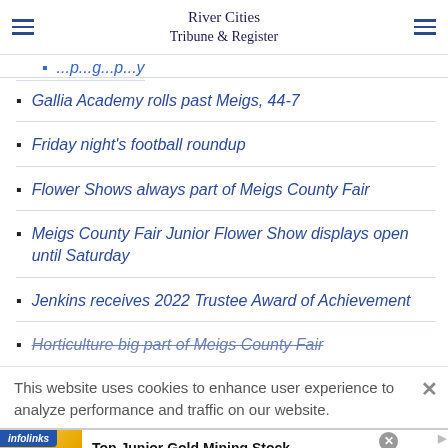River Cities Tribune & Register
Gallia Academy rolls past Meigs, 44-7
Friday night's football roundup
Flower Shows always part of Meigs County Fair
Meigs County Fair Junior Flower Show displays open until Saturday
Jenkins receives 2022 Trustee Award of Achievement
Horticulture big part of Meigs County Fair
This website uses cookies to enhance user experience to analyze performance and traffic on our website.
[Figure (infographic): Infolinks advertisement banner for Top Junior Gold Mining Stock with gold bar image]